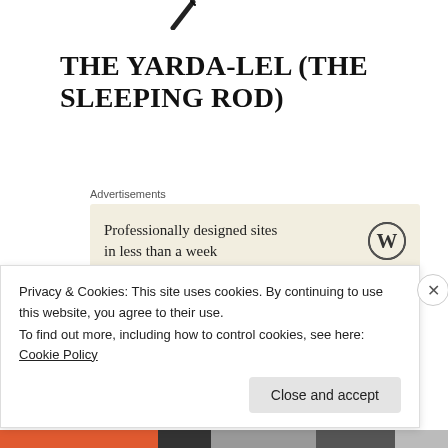[Figure (logo): Diagonal pen/pencil icon at top of page]
THE YARDA-LEL (THE SLEEPING ROD)
Advertisements
[Figure (infographic): Advertisement banner: 'Professionally designed sites in less than a week' with WordPress logo]
Yarda-lel (the “seeming rod,” or sometimes the
Privacy & Cookies: This site uses cookies. By continuing to use this website, you agree to their use.
To find out more, including how to control cookies, see here: Cookie Policy
Close and accept